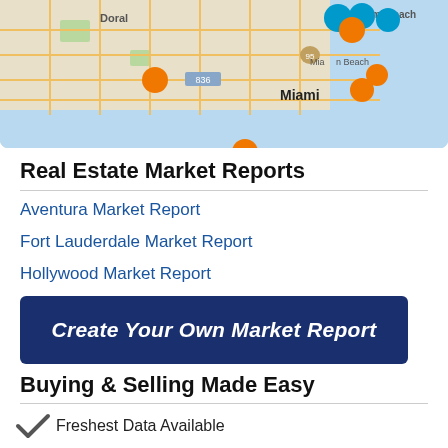[Figure (map): Map of Miami area showing property listings as orange and blue dots, including areas: Doral, Miami Beach, Miami. Road network visible with grid streets.]
Real Estate Market Reports
Aventura Market Report
Fort Lauderdale Market Report
Hollywood Market Report
Create Your Own Market Report
Buying & Selling Made Easy
Freshest Data Available
Active Listings Only
Customizable Search Options
New Listing Alerts